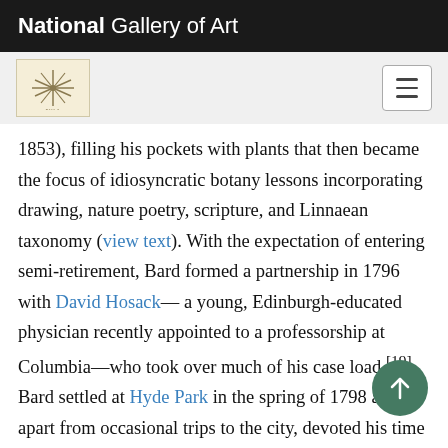National Gallery of Art
[Figure (logo): National Gallery of Art navigation bar with logo icon and hamburger menu button]
1853), filling his pockets with plants that then became the focus of idiosyncratic botany lessons incorporating drawing, nature poetry, scripture, and Linnaean taxonomy (view text). With the expectation of entering semi-retirement, Bard formed a partnership in 1796 with David Hosack— a young, Edinburgh-educated physician recently appointed to a professorship at Columbia—who took over much of his case load.[19] Bard settled at Hyde Park in the spring of 1798 and apart from occasional trips to the city, devoted his time to landscape improvements and botanical experiments.[20] He reportedly drew the plans for his mansion and